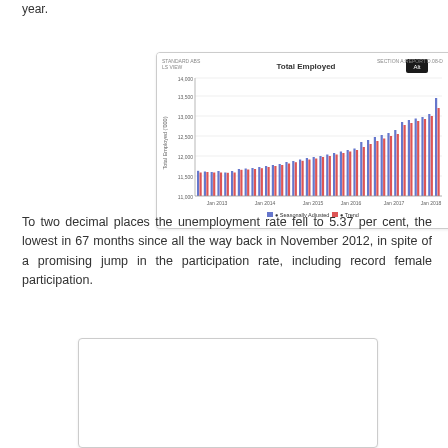year.
[Figure (bar-chart): Grouped bar chart showing Total Employed over time from approximately Jan 2013 to Jan 2018, with two series: Seasonally Adjusted (blue/dark) and Trend (red/pink). Values rise from roughly 11,500 to 13,000 thousand over the period.]
To two decimal places the unemployment rate fell to 5.37 per cent, the lowest in 67 months since all the way back in November 2012, in spite of a promising jump in the participation rate, including record female participation.
[Figure (other): Second chart or image, partially visible, content not legible.]